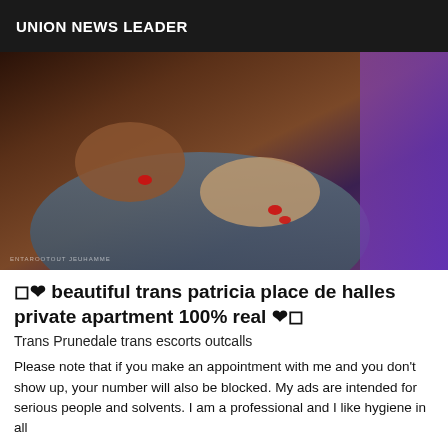UNION NEWS LEADER
[Figure (photo): Close-up photo of two people's hands and torsos, one wearing a grey shirt and the other wearing a purple/pink outfit, with red nail polish visible. A watermark reads 'ENTAROOTOUT JEUHAMME' at the bottom left.]
🔲❤ beautiful trans patricia place de halles private apartment 100% real ❤🔲
Trans Prunedale trans escorts outcalls
Please note that if you make an appointment with me and you don't show up, your number will also be blocked. My ads are intended for serious people and solvents. I am a professional and I like hygiene in all